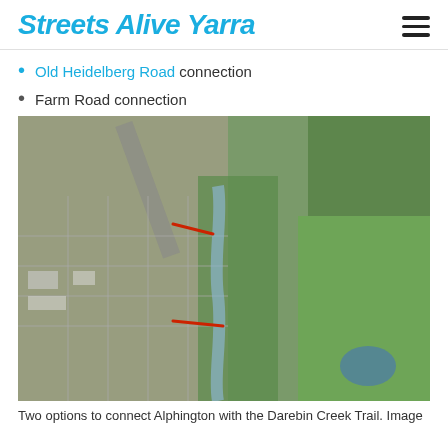Streets Alive Yarra
Old Heidelberg Road connection
Farm Road connection
[Figure (map): Aerial map showing two route options (marked in red) to connect Alphington with the Darebin Creek Trail, showing suburban streets, parkland, and creek corridor.]
Two options to connect Alphington with the Darebin Creek Trail. Image